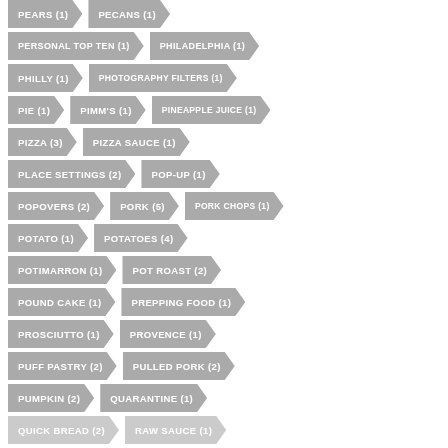PEARS (1), PECANS (1)
PERSONAL TOP TEN (1), PHILADELPHIA (1)
PHILLY (1), PHOTOGRAPHY FILTERS (1)
PIE (1), PIMM'S (1), PINEAPPLE JUICE (1)
PIZZA (3), PIZZA SAUCE (1)
PLACE SETTINGS (2), POP-UP (1)
POPOVERS (2), PORK (5), PORK CHOPS (1)
POTATO (1), POTATOES (4)
POTIMARRON (1), POT ROAST (2)
POUND CAKE (1), PREPPING FOOD (1)
PROSCIUTTO (1), PROVENCE (1)
PUFF PASTRY (2), PULLED PORK (2)
PUMPKIN (2), QUARANTINE (1)
QUICK BREAD (2), RAW SAUCE (1)